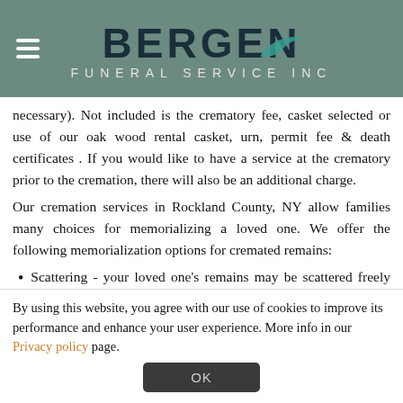[Figure (logo): Bergen Funeral Service Inc logo with teal swoosh on dark green/teal banner background, with hamburger menu icon on left]
necessary). Not included is the crematory fee, casket selected or use of our oak wood rental casket, urn, permit fee & death certificates . If you would like to have a service at the crematory prior to the cremation, there will also be an additional charge.
Our cremation services in Rockland County, NY allow families many choices for memorializing a loved one. We offer the following memorialization options for cremated remains:
Scattering - your loved one's remains may be scattered freely within a dedicated, natural environment. There are also certain
By using this website, you agree with our use of cookies to improve its performance and enhance your user experience. More info in our Privacy policy page.